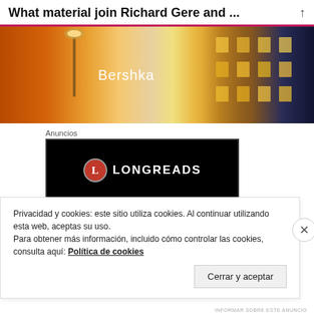What material join Richard Gere and ...
[Figure (photo): Street photo showing a Bershka store facade at night with warm street lighting and another illuminated building in the background]
Anuncios
[Figure (logo): Longreads logo: red circle with L on black background with white LONGREADS text]
Privacidad y cookies: este sitio utiliza cookies. Al continuar utilizando esta web, aceptas su uso.
Para obtener más información, incluido cómo controlar las cookies, consulta aquí: Política de cookies
Cerrar y aceptar
INFORMAR SOBRE ESTE ANUNCIO